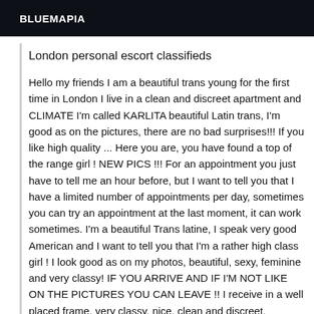BLUEMAPIA
London personal escort classifieds
Hello my friends I am a beautiful trans young for the first time in London I live in a clean and discreet apartment and CLIMATE I'm called KARLITA beautiful Latin trans, I'm good as on the pictures, there are no bad surprises!!! If you like high quality ... Here you are, you have found a top of the range girl ! NEW PICS !!! For an appointment you just have to tell me an hour before, but I want to tell you that I have a limited number of appointments per day, sometimes you can try an appointment at the last moment, it can work sometimes. I'm a beautiful Trans latine, I speak very good American and I want to tell you that I'm a rather high class girl ! I look good as on my photos, beautiful, sexy, feminine and very classy! IF YOU ARRIVE AND IF I'M NOT LIKE ON THE PICTURES YOU CAN LEAVE !! I receive in a well placed frame, very classy, nice, clean and discreet.